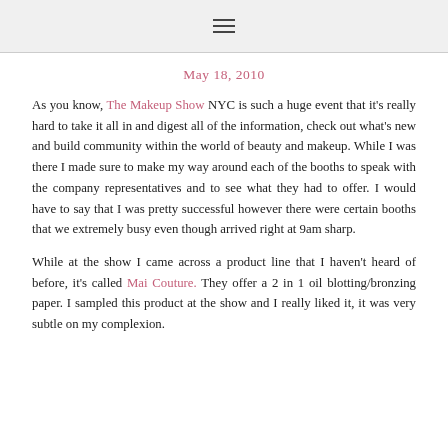≡
May 18, 2010
As you know, The Makeup Show NYC is such a huge event that it's really hard to take it all in and digest all of the information, check out what's new and build community within the world of beauty and makeup. While I was there I made sure to make my way around each of the booths to speak with the company representatives and to see what they had to offer. I would have to say that I was pretty successful however there were certain booths that we extremely busy even though arrived right at 9am sharp.
While at the show I came across a product line that I haven't heard of before, it's called Mai Couture. They offer a 2 in 1 oil blotting/bronzing paper. I sampled this product at the show and I really liked it, it was very subtle on my complexion.